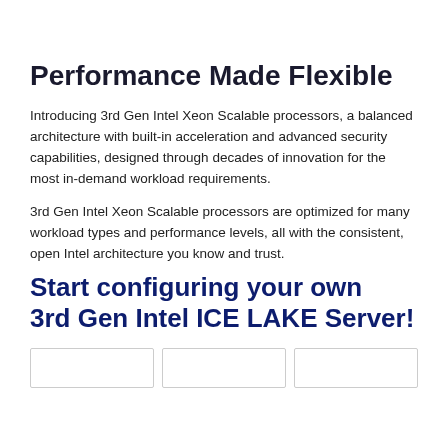Performance Made Flexible
Introducing 3rd Gen Intel Xeon Scalable processors, a balanced architecture with built-in acceleration and advanced security capabilities, designed through decades of innovation for the most in-demand workload requirements.
3rd Gen Intel Xeon Scalable processors are optimized for many workload types and performance levels, all with the consistent, open Intel architecture you know and trust.
Start configuring your own 3rd Gen Intel ICE LAKE Server!
|  |  |  |